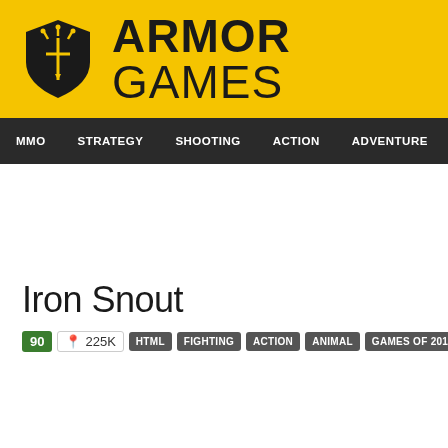[Figure (logo): Armor Games logo: yellow background with shield icon and 'ARMOR GAMES' text in bold]
MMO  STRATEGY  SHOOTING  ACTION  ADVENTURE  P
Iron Snout
90  225K  HTML  FIGHTING  ACTION  ANIMAL  GAMES OF 2018